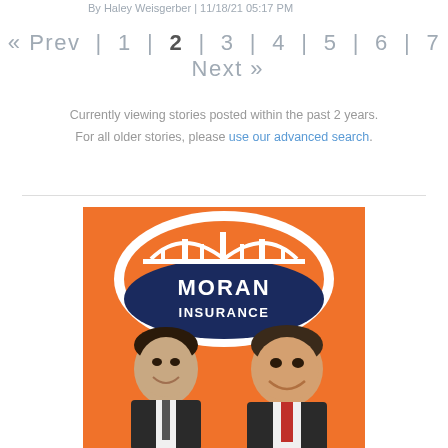By Haley Weisgerber | 11/18/21 05:17 PM
« Prev | 1 | 2 | 3 | 4 | 5 | 6 | 7 Next »
Currently viewing stories posted within the past 2 years. For all older stories, please use our advanced search.
[Figure (photo): Moran Insurance company photo showing two smiling men in suits on an orange background with the Moran Insurance logo (oval with bridge illustration) prominently displayed.]